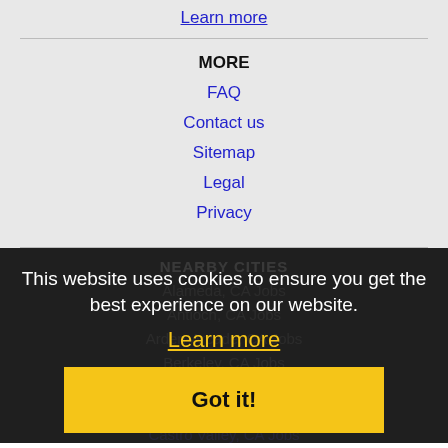Learn more
MORE
FAQ
Contact us
Sitemap
Legal
Privacy
NEARBY CITIES
Alameda, CA Jobs
Antioch, CA Jobs
Arden-Arcade, CA Jobs
Berkeley, CA Jobs
Brentwood, CA Jobs
Carmichael, CA Jobs
Castro Valley, CA Jobs
This website uses cookies to ensure you get the best experience on our website.
Learn more
Got it!